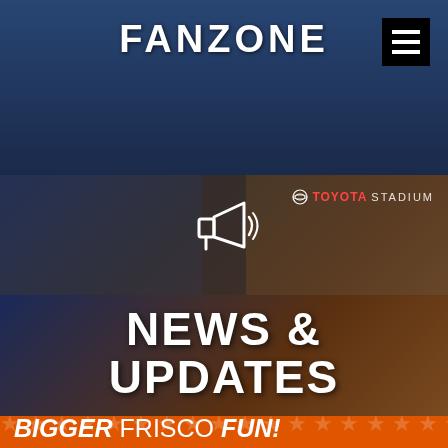FANZONE
[Figure (photo): Sports broadcast photo of reporter interviewing coach at Toyota Stadium with news and updates overlay and megaphone icon]
TOYOTA STADIUM
NEWS & UPDATES
BIG COLLEGE BOWL GAME, BIGGER FRISCO FUN!